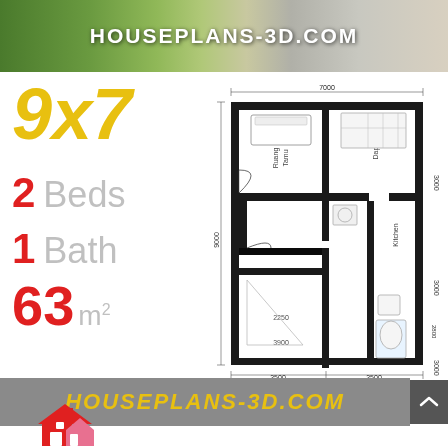HOUSEPLANS-3D.COM
9x7
2 Beds
1 Bath
63 m²
[Figure (engineering-diagram): 2D floor plan of a 9x7 meter house showing living room (Ruang Tamu), kitchen, 2 bedrooms, and 1 bathroom. Overall dimensions: 7000mm wide x 9000mm tall. Bottom divided into 3500+3500mm sections.]
HOUSEPLANS-3D.COM
[Figure (logo): Red and pink house icon logo]